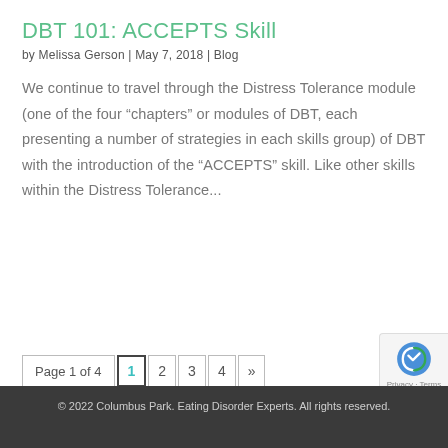DBT 101: ACCEPTS Skill
by Melissa Gerson | May 7, 2018 | Blog
We continue to travel through the Distress Tolerance module (one of the four “chapters” or modules of DBT, each presenting a number of strategies in each skills group) of DBT with the introduction of the “ACCEPTS” skill. Like other skills within the Distress Tolerance...
Page 1 of 4  1  2  3  4  »
© 2022 Columbus Park. Eating Disorder Experts. All rights reserved.